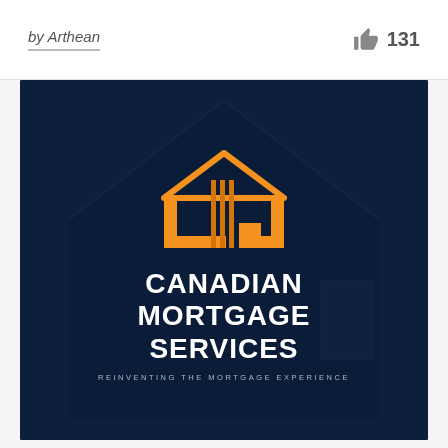by Arthean
131
[Figure (logo): Canadian Mortgage Services (CMS) logo on a dark navy blue background with a house silhouette. Orange geometric house/building logo mark with vertical lines representing CMS letters, followed by company name in white bold uppercase: CANADIAN MORTGAGE SERVICES, and tagline: REINVENTING THE MORTGAGE EXPERIENCE]